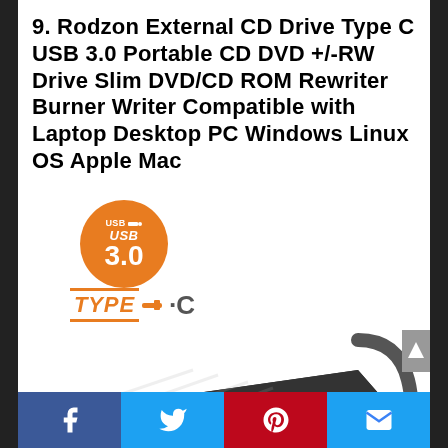9. Rodzon External CD Drive Type C USB 3.0 Portable CD DVD +/-RW Drive Slim DVD/CD ROM Rewriter Burner Writer Compatible with Laptop Desktop PC Windows Linux OS Apple Mac
[Figure (photo): Product photo of Rodzon External CD/DVD Drive with USB 3.0 Type-C badge (orange circle with USB 3.0 text), TYPE-C label in orange, and the black external optical drive unit with a cable]
Facebook | Twitter | Pinterest | Email (social share bar)